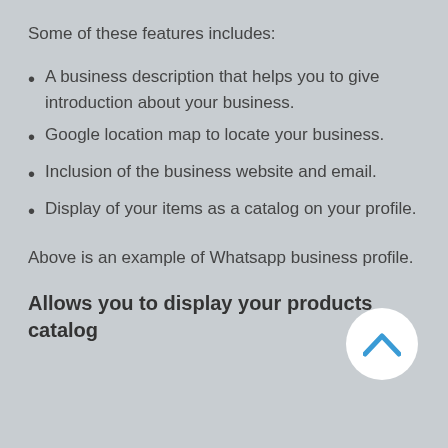Some of these features includes:
A business description that helps you to give introduction about your business.
Google location map to locate your business.
Inclusion of the business website and email.
Display of your items as a catalog on your profile.
Above is an example of Whatsapp business profile.
[Figure (other): A white circular scroll-to-top button with a blue chevron/caret icon pointing upward]
Allows you to display your products catalog